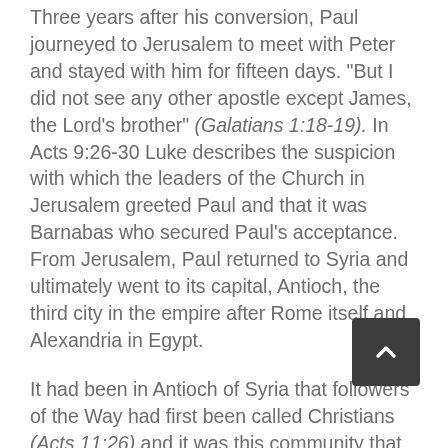Three years after his conversion, Paul journeyed to Jerusalem to meet with Peter and stayed with him for fifteen days. "But I did not see any other apostle except James, the Lord's brother" (Galatians 1:18-19). In Acts 9:26-30 Luke describes the suspicion with which the leaders of the Church in Jerusalem greeted Paul and that it was Barnabas who secured Paul's acceptance. From Jerusalem, Paul returned to Syria and ultimately went to its capital, Antioch, the third city in the empire after Rome itself and Alexandria in Egypt.
It had been in Antioch of Syria that followers of the Way had first been called Christians (Acts 11:26) and it was this community that would commission Paul and Barnabas as...